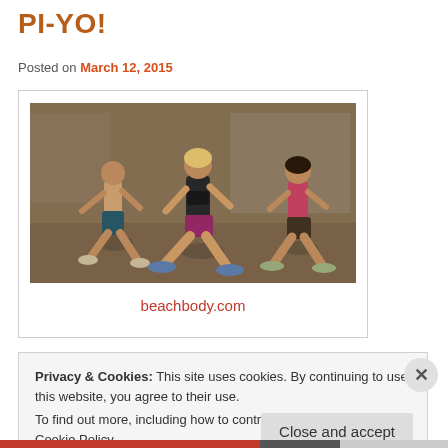PI-YO!
Posted on March 12, 2015
[Figure (photo): Three fitness athletes in athletic wear performing lateral lunge movements in a gym studio setting, photographed for beachbody.com]
beachbody.com
Privacy & Cookies: This site uses cookies. By continuing to use this website, you agree to their use.
To find out more, including how to control cookies, see here: Cookie Policy
Close and accept